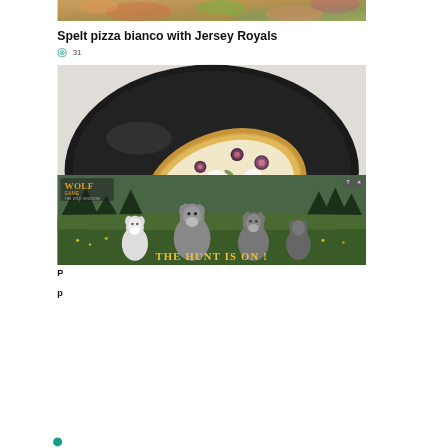[Figure (photo): Top portion of a food photo showing colorful pizza toppings with vegetables]
Spelt pizza bianco with Jersey Royals
◎ 31
[Figure (photo): Photo of a rustic spelt pizza bianco with Jersey Royals, figs, and mozzarella on a dark round baking tray, partially overlaid by a Wolf Game advertisement at the bottom]
P
p